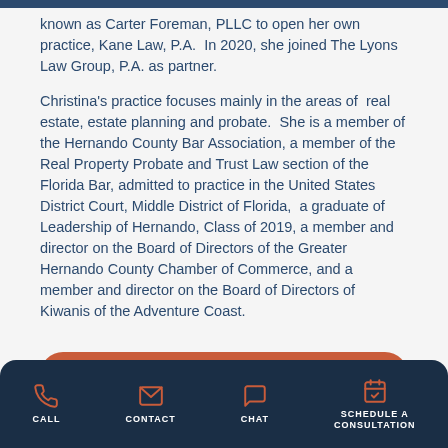known as Carter Foreman, PLLC to open her own practice, Kane Law, P.A.  In 2020, she joined The Lyons Law Group, P.A. as partner.
Christina's practice focuses mainly in the areas of  real estate, estate planning and probate.  She is a member of the Hernando County Bar Association, a member of the Real Property Probate and Trust Law section of the Florida Bar, admitted to practice in the United States District Court, Middle District of Florida,  a graduate of Leadership of Hernando, Class of 2019, a member and director on the Board of Directors of the Greater Hernando County Chamber of Commerce, and a member and director on the Board of Directors of Kiwanis of the Adventure Coast.
SCHEDULE A FREE CONSULTATION WITH CHRIS
CALL   CONTACT   CHAT   SCHEDULE A CONSULTATION